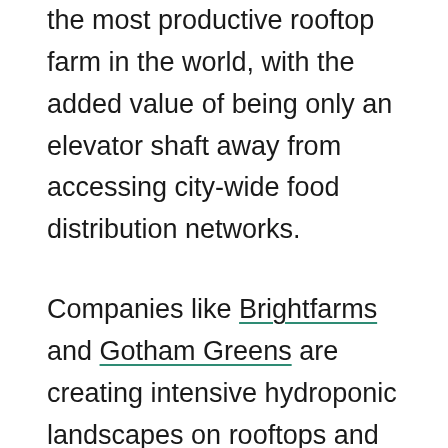the most productive rooftop farm in the world, with the added value of being only an elevator shaft away from accessing city-wide food distribution networks.
Companies like Brightfarms and Gotham Greens are creating intensive hydroponic landscapes on rooftops and selling direct to supermarkets. This arrangement both decreases the cost to consumers and raises profits for the farmer. Taking out the middleman is a trend right now in north eastern farming, with many farmers trucking produce to markets and restaurants